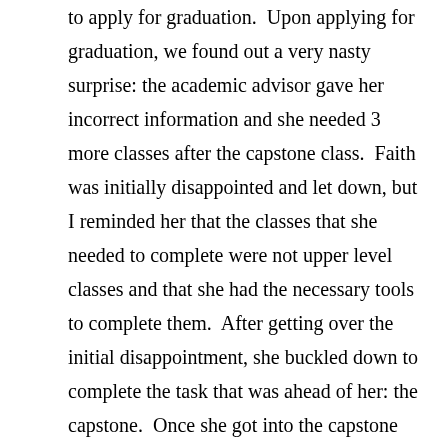to apply for graduation.  Upon applying for graduation, we found out a very nasty surprise: the academic advisor gave her incorrect information and she needed 3 more classes after the capstone class.  Faith was initially disappointed and let down, but I reminded her that the classes that she needed to complete were not upper level classes and that she had the necessary tools to complete them.  After getting over the initial disappointment, she buckled down to complete the task that was ahead of her: the capstone.  Once she got into the capstone class, she tackled it like she tackled any other challenge in her life; she took control and made it submit to her will.